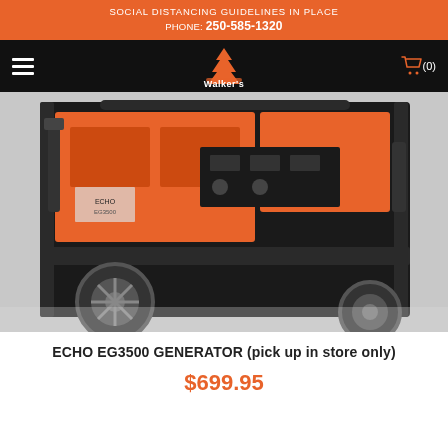SOCIAL DISTANCING GUIDELINES IN PLACE
PHONE: 250-585-1320
[Figure (logo): Walker's shop logo with tree/chainsaw silhouette and text 'Walker's' on dark nav bar]
[Figure (photo): Close-up photo of an orange and black ECHO EG3500 generator showing wheels, frame, and engine components]
ECHO EG3500 GENERATOR (pick up in store only)
$699.95